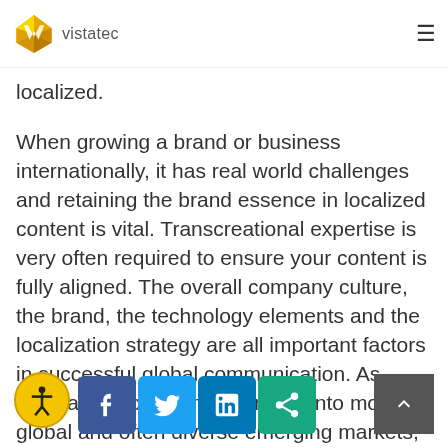vistatec
localized.
When growing a brand or business internationally, it has real world challenges and retaining the brand essence in localized content is vital. Transcreational expertise is very often required to ensure your content is fully aligned. The overall company culture, the brand, the technology elements and the localization strategy are all important factors in successful global communication. As companies focus on expansion into more global and often diverse emerging markets, there can be a regulatory story companies to do so with your competitors and